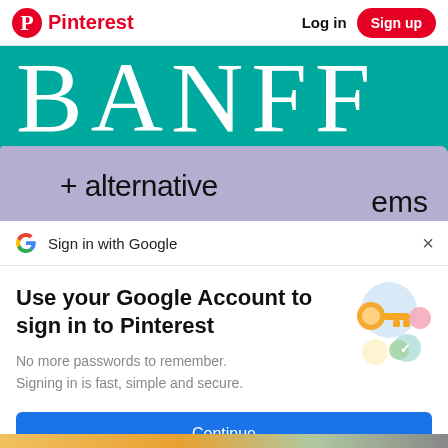Pinterest   Log in   Sign up
[Figure (screenshot): Pinterest banner image showing 'BANFF + alternative ems' text on teal and lavender background]
Sign in with Google
Use your Google Account to sign in to Pinterest
No more passwords to remember. Signing in is fast, simple and secure.
[Figure (illustration): Google key and security icons illustration]
Continue